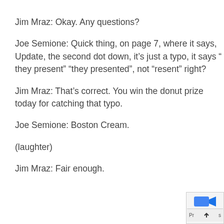Jim Mraz:  Okay.  Any questions?
Joe Semione:  Quick thing, on page 7, where it says, Update, the second dot down, it’s just a typo, it says “ they present” “they presented”, not “resent” right?
Jim Mraz:  That’s correct.  You win the donut prize today for catching that typo.
Joe Semione:  Boston Cream.
(laughter)
Jim Mraz:  Fair enough.